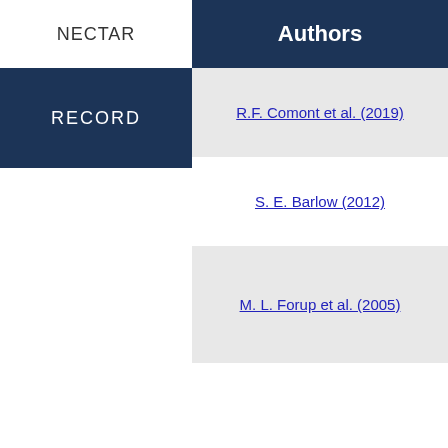NECTAR
Authors
RECORD
R.F. Comont et al. (2019)
S. E. Barlow (2012)
M. L. Forup et al. (2005)